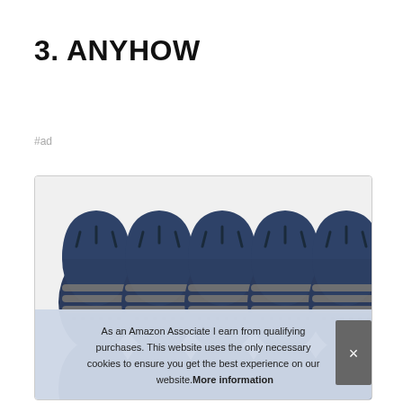3. ANYHOW
#ad
[Figure (photo): Five dark navy blue laundry washing pods/balls arranged in a row, with ridged surfaces and oval shapes, shown inside a bordered product listing box.]
As an Amazon Associate I earn from qualifying purchases. This website uses the only necessary cookies to ensure you get the best experience on our website. More information